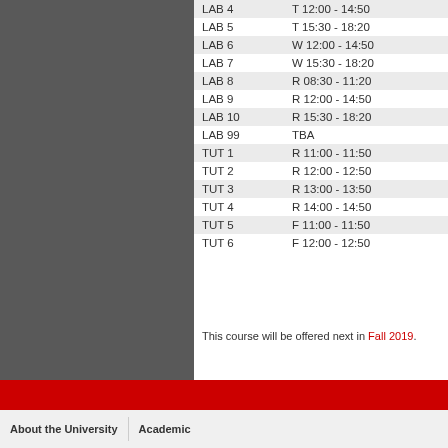| Section | Time |
| --- | --- |
| LAB 4 | T 12:00 - 14:50 |
| LAB 5 | T 15:30 - 18:20 |
| LAB 6 | W 12:00 - 14:50 |
| LAB 7 | W 15:30 - 18:20 |
| LAB 8 | R 08:30 - 11:20 |
| LAB 9 | R 12:00 - 14:50 |
| LAB 10 | R 15:30 - 18:20 |
| LAB 99 | TBA |
| TUT 1 | R 11:00 - 11:50 |
| TUT 2 | R 12:00 - 12:50 |
| TUT 3 | R 13:00 - 13:50 |
| TUT 4 | R 14:00 - 14:50 |
| TUT 5 | F 11:00 - 11:50 |
| TUT 6 | F 12:00 - 12:50 |
This course will be offered next in Fall 2019.
About the University   Academic